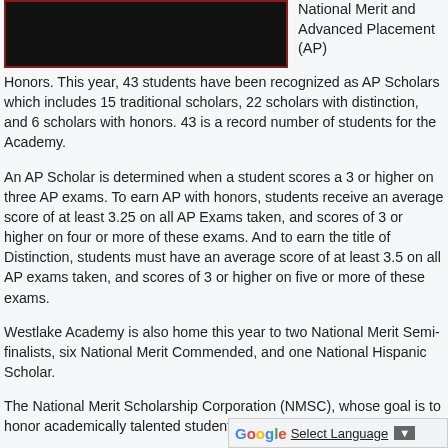[Figure (photo): Redacted/black image with dark red border]
National Merit and Advanced Placement (AP)
Honors. This year, 43 students have been recognized as AP Scholars which includes 15 traditional scholars, 22 scholars with distinction, and 6 scholars with honors. 43 is a record number of students for the Academy.

An AP Scholar is determined when a student scores a 3 or higher on three AP exams. To earn AP with honors, students receive an average score of at least 3.25 on all AP Exams taken, and scores of 3 or higher on four or more of these exams. And to earn the title of Distinction, students must have an average score of at least 3.5 on all AP exams taken, and scores of 3 or higher on five or more of these exams.

Westlake Academy is also home this year to two National Merit Semi-finalists, six National Merit Commended, and one National Hispanic Scholar.

The National Merit Scholarship Corporation (NMSC), whose goal is to honor academically talented students, have provided more than 40...